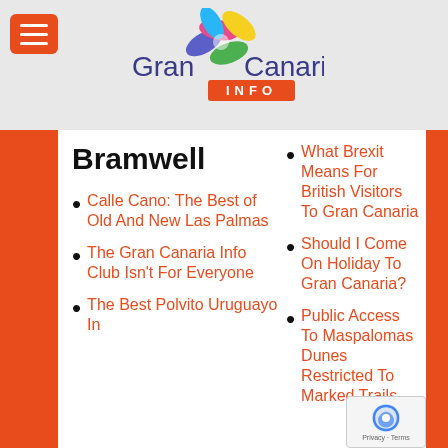[Figure (logo): Gran Canaria Info logo with colorful flower/star graphic and blue text 'Gran Canaria' with orange INFO badge]
Bramwell
Calle Cano: The Best of Old And New Las Palmas
The Gran Canaria Info Club Isn't For Everyone
The Best Polvito Uruguayo In
What Brexit Means For British Visitors To Gran Canaria
Should I Come On Holiday To Gran Canaria?
Public Access To Maspalomas Dunes Restricted To Marked Trails